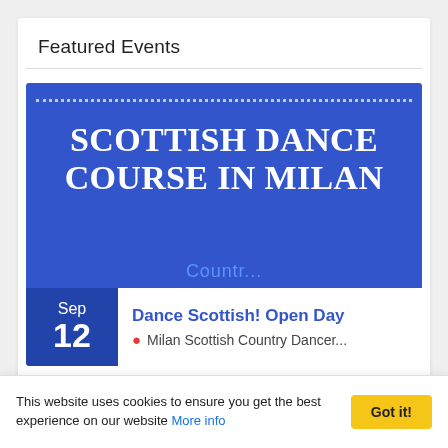Featured Events
[Figure (illustration): Blue banner image with dotted border and bold white text reading 'SCOTTISH DANCE COURSE IN MILAN', with faint 'Country' text at bottom]
Dance Scottish! Open Day
Milan Scottish Country Dancer...
[Figure (logo): Partial view of second event card with British Chamber of Commerce for Italy crest logo, Landoor translation partner logo, and partial reCAPTCHA logo on gold-bordered background]
This website uses cookies to ensure you get the best experience on our website More info
Got it!